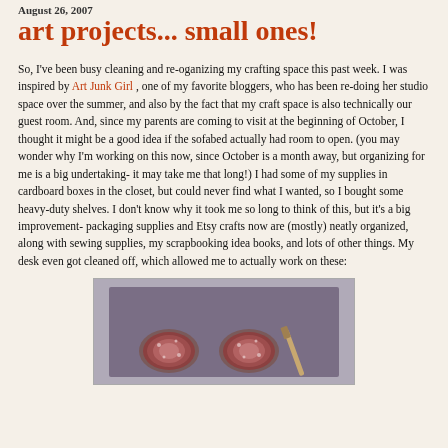August 26, 2007
art projects... small ones!
So, I've been busy cleaning and re-oganizing my crafting space this past week. I was inspired by Art Junk Girl , one of my favorite bloggers, who has been re-doing her studio space over the summer, and also by the fact that my craft space is also technically our guest room. And, since my parents are coming to visit at the beginning of October, I thought it might be a good idea if the sofabed actually had room to open. (you may wonder why I'm working on this now, since October is a month away, but organizing for me is a big undertaking- it may take me that long!) I had some of my supplies in cardboard boxes in the closet, but could never find what I wanted, so I bought some heavy-duty shelves. I don't know why it took me so long to think of this, but it's a big improvement- packaging supplies and Etsy crafts now are (mostly) neatly organized, along with sewing supplies, my scrapbooking idea books, and lots of other things. My desk even got cleaned off, which allowed me to actually work on these:
[Figure (photo): Photo of small art projects on a purple/gray background, appearing to show small circular decorative pieces and a stick/brush.]